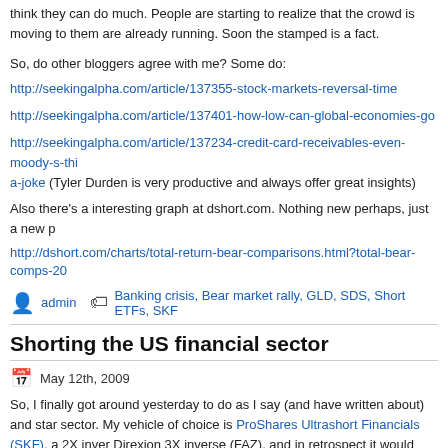think they can do much. People are starting to realize that the crowd is moving to them are already running. Soon the stamped is a fact.
So, do other bloggers agree with me? Some do:
http://seekingalpha.com/article/137355-stock-markets-reversal-time
http://seekingalpha.com/article/137401-how-low-can-global-economies-go
http://seekingalpha.com/article/137234-credit-card-receivables-even-moody-s-thi a-joke (Tyler Durden is very productive and always offer great insights)
Also there's a interesting graph at dshort.com. Nothing new perhaps, just a new p
http://dshort.com/charts/total-return-bear-comparisons.html?total-bear-comps-20
admin | Banking crisis, Bear market rally, GLD, SDS, Short ETFs, SKF
Shorting the US financial sector
May 12th, 2009
So, I finally got around yesterday to do as I say (and have written about) and star sector. My vehicle of choice is ProShares Ultrashort Financials (SKF), a 2X inver Direxion 3X inverse (FAZ), and in retrospect it would have been better, because t yesterday and continued today (so I would have made approx. 50% more with FA comfortable holding for the week thou, and a 3X is terrible if the markets whipsav thou). I might switch if the trend is sustained during the week.
Results so far is 10.4% up on Monday and 8.0% Tuesday as of this writing /thou